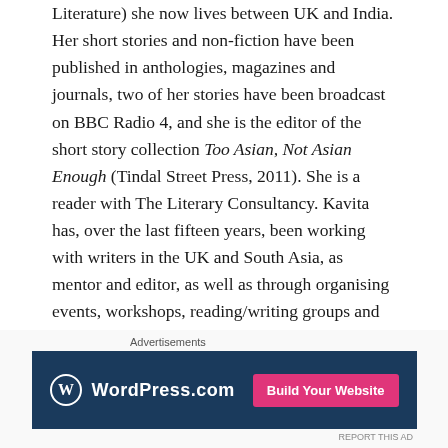Literature) she now lives between UK and India. Her short stories and non-fiction have been published in anthologies, magazines and journals, two of her stories have been broadcast on BBC Radio 4, and she is the editor of the short story collection Too Asian, Not Asian Enough (Tindal Street Press, 2011). She is a reader with The Literary Consultancy. Kavita has, over the last fifteen years, been working with writers in the UK and South Asia, as mentor and editor, as well as through organising events, workshops, reading/writing groups and conferences around the politics of reading, writing and representation. Her focus, through these events, through academic research, through social media, and in her fiction and non-fiction, has particularly been on punjabiyat, ideology and white, upper class/caste and
[Figure (other): WordPress.com advertisement banner with logo and 'Build Your Website' button on dark navy background]